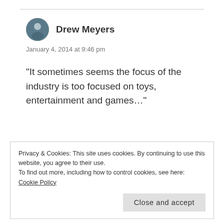[Figure (photo): Circular avatar photo of Drew Meyers, a person shown from shoulders up outdoors]
Drew Meyers
January 4, 2014 at 9:46 pm
“It sometimes seems the focus of the industry is too focused on toys, entertainment and games…”
Truth. There is far too big a % of resources/time/$$/ talent spent on those things,
Privacy & Cookies: This site uses cookies. By continuing to use this website, you agree to their use.
To find out more, including how to control cookies, see here: Cookie Policy